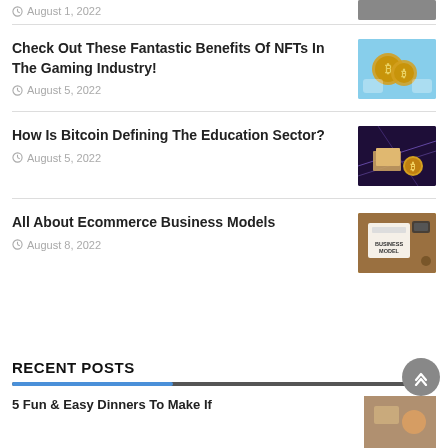August 1, 2022 (clipped)
Check Out These Fantastic Benefits Of NFTs In The Gaming Industry!
August 5, 2022
[Figure (photo): Gold Bitcoin coins with gaming controllers on blue background]
How Is Bitcoin Defining The Education Sector?
August 5, 2022
[Figure (photo): Open book with Bitcoin coins and purple digital network background]
All About Ecommerce Business Models
August 8, 2022
[Figure (photo): Notebook with BUSINESS MODEL text, laptop and coffee on desk]
RECENT POSTS
5 Fun & Easy Dinners To Make If
[Figure (photo): Food/dinner related image]